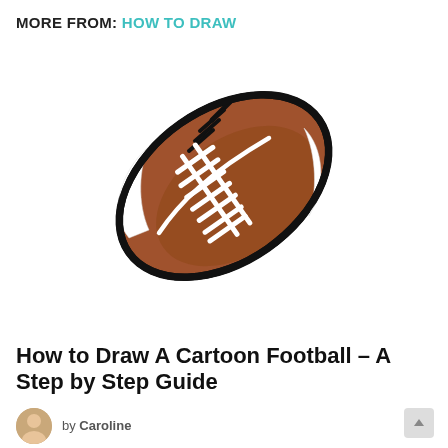MORE FROM: HOW TO DRAW
[Figure (illustration): Cartoon drawing of a brown American football with black stitching laces and white stripe highlights, shown at a slight angle.]
How to Draw A Cartoon Football – A Step by Step Guide
by Caroline
6 days ago